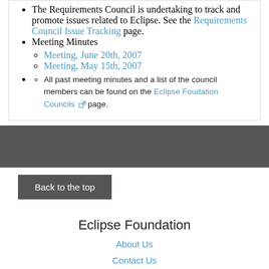The Requirements Council is undertaking to track and promote issues related to Eclipse. See the Requirements Council Issue Tracking page.
Meeting Minutes
Meeting, June 20th, 2007
Meeting, May 15th, 2007
All past meeting minutes and a list of the council members can be found on the Eclipse Foudation Councils page.
Back to the top
Eclipse Foundation
About Us
Contact Us